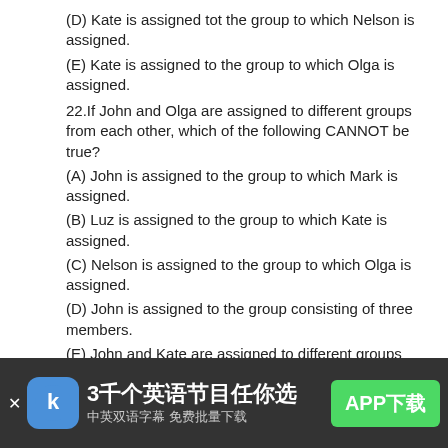(D) Kate is assigned tot the group to which Nelson is assigned.
(E) Kate is assigned to the group to which Olga is assigned.
22.If John and Olga are assigned to different groups from each other, which of the following CANNOT be true?
(A) John is assigned to the group to which Mark is assigned.
(B) Luz is assigned to the group to which Kate is assigned.
(C) Nelson is assigned to the group to which Olga is assigned.
(D) John is assigned to the group consisting of three members.
(E) John and Kate are assigned to different groups from each other.
23. GRAND CITY CENSUS REPORTS
(1850-1980)
[Figure (screenshot): Mobile app advertisement banner for a Chinese-English bilingual app. Shows app icon, Chinese text '3千个英语节目任你选' and '中英双语字幕 免费批量下载', and a green 'APP下载' button.]